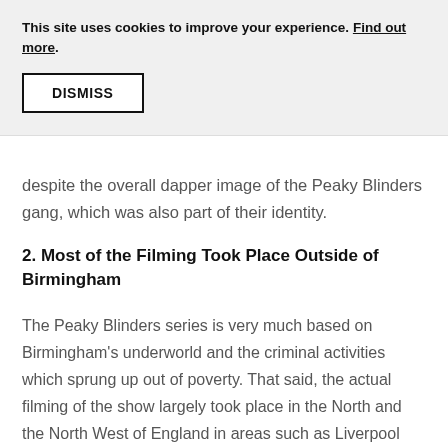This site uses cookies to improve your experience. Find out more.
DISMISS
despite the overall dapper image of the Peaky Blinders gang, which was also part of their identity.
2. Most of the Filming Took Place Outside of Birmingham
The Peaky Blinders series is very much based on Birmingham's underworld and the criminal activities which sprung up out of poverty. That said, the actual filming of the show largely took place in the North and the North West of England in areas such as Liverpool and